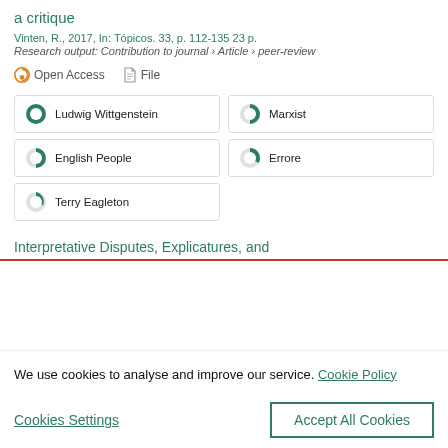a critique
Vinten, R., 2017, In: Tópicos. 33, p. 112-135 23 p.
Research output: Contribution to journal › Article › peer-review
Open Access   File
Ludwig Wittgenstein
Marxist
English People
Errore
Terry Eagleton
Interpretative Disputes, Explicatures, and
We use cookies to analyse and improve our service. Cookie Policy
Cookies Settings
Accept All Cookies